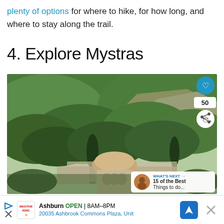plenty of options for where to hike, for how long, and where to stay along the trail.
4. Explore Mystras
[Figure (photo): Photo of Mystras — a Byzantine church with a domed roof surrounded by lush green forested hillside with rocky cliffs. UI overlays: heart button (50 likes), share button, and a 'What's Next' card showing '15 of the Best Things to do...']
Ashburn OPEN 8AM–8PM 20035 Ashbrook Commons Plaza, Unit